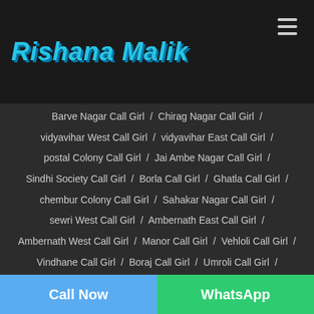Rishana Malik
Barve Nagar Call Girl / Chirag Nagar Call Girl / vidyavihar West Call Girl / vidyavihar East Call Girl / postal Colony Call Girl / Jai Ambe Nagar Call Girl / Sindhi Society Call Girl / Borla Call Girl / Ghatla Call Girl / chembur Colony Call Girl / Sahakar Nagar Call Girl / sewri West Call Girl / Ambernath East Call Girl / Ambernath West Call Girl / Manor Call Girl / Vehloli Call Girl / Vindhane Call Girl / Boraj Call Girl / Umroli Call Girl / Dohole Call Girl / Shelu Call Girl / Sakawar Call Girl / Gokuldham Colony Call Girl / Magathane Call Girl / Ghodbunder Call Girl / Netaji Nagar Call Girl / Best Nagar Call Girl / Kajupada Call Girl / Dhamote Call Girl / Kharbao Call Girl / Anand park Call Girl / Kopargaon Call Girl / Matunga Call Girl / Govandi East Call Girl / Hariyali Call Girl / Tungareshwar Call Girl /
Call Now
WhatsApp